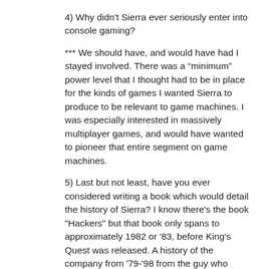4) Why didn't Sierra ever seriously enter into console gaming?
*** We should have, and would have had I stayed involved. There was a “minimum” power level that I thought had to be in place for the kinds of games I wanted Sierra to produce to be relevant to game machines. I was especially interested in massively multiplayer games, and would have wanted to pioneer that entire segment on game machines.
5) Last but not least, have you ever considered writing a book which would detail the history of Sierra? I know there's the book "Hackers" but that book only spans to approximately 1982 or '83, before King's Quest was released. A history of the company from '79-'98 from the guy who founded and led it would be very